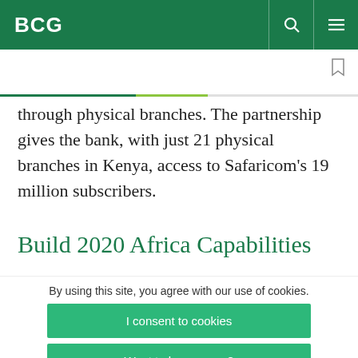BCG
through physical branches. The partnership gives the bank, with just 21 physical branches in Kenya, access to Safaricom's 19 million subscribers.
Build 2020 Africa Capabilities
By using this site, you agree with our use of cookies.
I consent to cookies
Want to know more?
Read our Cookie Policy